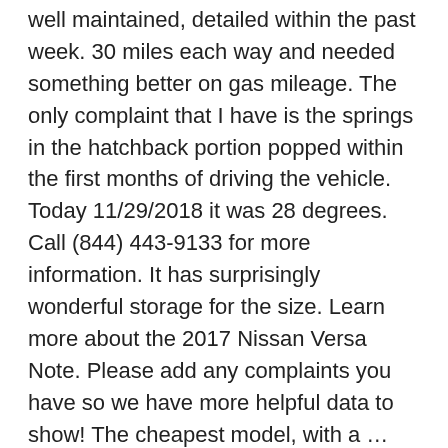well maintained, detailed within the past week. 30 miles each way and needed something better on gas mileage. The only complaint that I have is the springs in the hatchback portion popped within the first months of driving the vehicle. Today 11/29/2018 it was 28 degrees. Call (844) 443-9133 for more information. It has surprisingly wonderful storage for the size. Learn more about the 2017 Nissan Versa Note. Please add any complaints you have so we have more helpful data to show! The cheapest model, with a … She was 88 miles from home and stranded on an interstate. It is a good size. Go with this high-quality product to restore your vehicle's lost power and bring it back to its